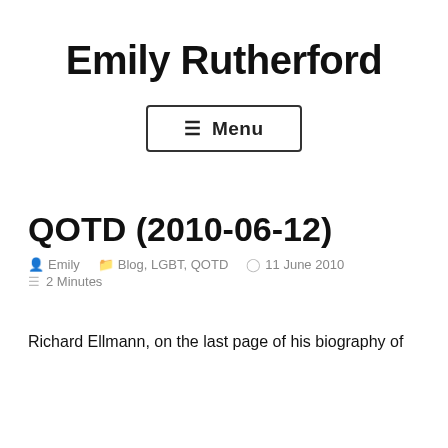Emily Rutherford
[Figure (other): Menu button with hamburger icon, labeled 'Menu']
QOTD (2010-06-12)
Emily   Blog, LGBT, QOTD   11 June 2010   2 Minutes
Richard Ellmann, on the last page of his biography of